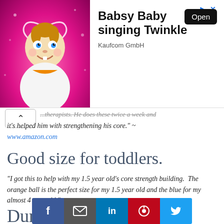[Figure (illustration): Advertisement banner for 'Babsy Baby singing Twinkle' by Kaufcom GmbH. Shows a cartoon baby with a heart halo on a pink sparkly background. Has an 'Open' button.]
...therapists. He does these twice a week and it's helped him with strengthening his core." ~ www.amazon.com
Good size for toddlers.
"I got this to help with my 1.5 year old's core strength building.  The orange ball is the perfect size for my 1.5 year old and the blue for my almost 4 year old." ~ www.amazon.com
Durable.
[Figure (infographic): Social share bar with Facebook, Email, LinkedIn, Pinterest, and Twitter buttons]